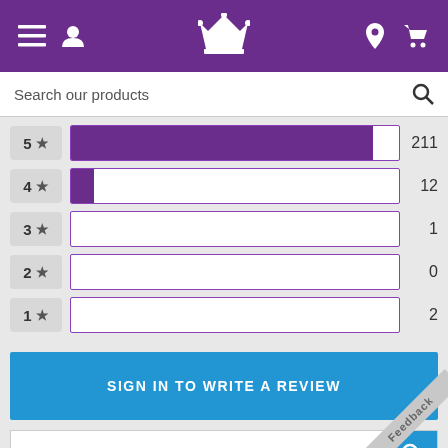[Figure (screenshot): Purple navigation bar with hamburger menu, user icon, crown logo, location pin, and cart icons]
Search our products
[Figure (bar-chart): Star ratings distribution]
SIGN IN TO WRITE A REVIEW
Search reviews
Most Recent